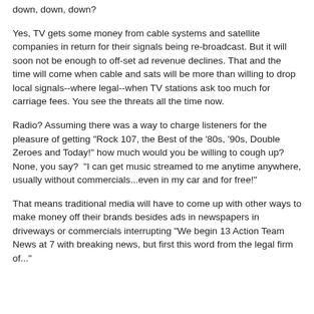down, down, down?
Yes, TV gets some money from cable systems and satellite companies in return for their signals being re-broadcast. But it will soon not be enough to off-set ad revenue declines. That and the time will come when cable and sats will be more than willing to drop local signals--where legal--when TV stations ask too much for carriage fees. You see the threats all the time now.
Radio? Assuming there was a way to charge listeners for the pleasure of getting "Rock 107, the Best of the '80s, '90s, Double Zeroes and Today!" how much would you be willing to cough up?  None, you say?  "I can get music streamed to me anytime anywhere, usually without commercials...even in my car and for free!"
That means traditional media will have to come up with other ways to make money off their brands besides ads in newspapers in driveways or commercials interrupting "We begin 13 Action Team News at 7 with breaking news, but first this word from the legal firm of..."